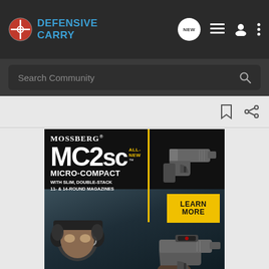Defensive Carry
Search Community
[Figure (screenshot): Mossberg MC2sc Micro-Compact advertisement on dark background. Shows handgun image, text: MOSSBERG MC2sc ALL-NEW MICRO-COMPACT WITH SLIM, DOUBLE-STACK 11- & 14-ROUND MAGAZINES. Yellow LEARN MORE button. Bottom half shows person shooting with hearing protection.]
[Figure (screenshot): Bass Pro Shops banner ad: RELOADING SUPPLIES with SHOP NOW button on dark green background with Bass Pro Shops logo.]